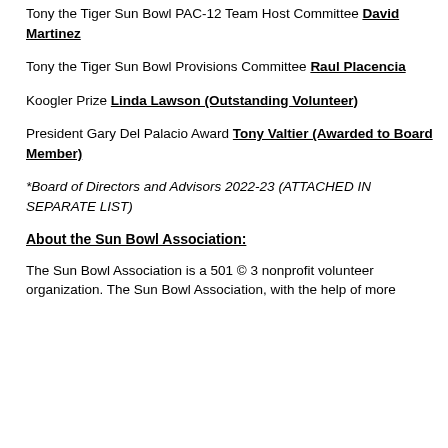Tony the Tiger Sun Bowl PAC-12 Team Host Committee David Martinez
Tony the Tiger Sun Bowl Provisions Committee Raul Placencia
Koogler Prize Linda Lawson (Outstanding Volunteer)
President Gary Del Palacio Award Tony Valtier (Awarded to Board Member)
*Board of Directors and Advisors 2022-23 (ATTACHED IN SEPARATE LIST)
About the Sun Bowl Association:
The Sun Bowl Association is a 501 © 3 nonprofit volunteer organization. The Sun Bowl Association, with the help of more